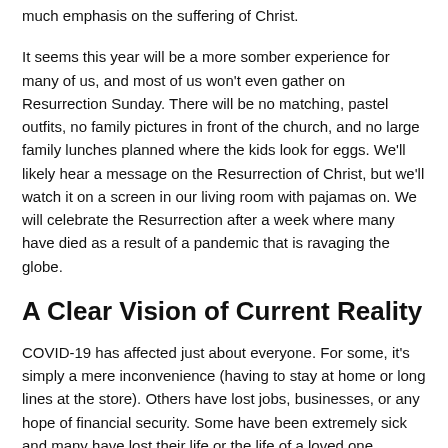much emphasis on the suffering of Christ.
It seems this year will be a more somber experience for many of us, and most of us won't even gather on Resurrection Sunday. There will be no matching, pastel outfits, no family pictures in front of the church, and no large family lunches planned where the kids look for eggs. We'll likely hear a message on the Resurrection of Christ, but we'll watch it on a screen in our living room with pajamas on. We will celebrate the Resurrection after a week where many have died as a result of a pandemic that is ravaging the globe.
A Clear Vision of Current Reality
COVID-19 has affected just about everyone. For some, it's simply a mere inconvenience (having to stay at home or long lines at the store). Others have lost jobs, businesses, or any hope of financial security. Some have been extremely sick and many have lost their life or the life of a loved one.